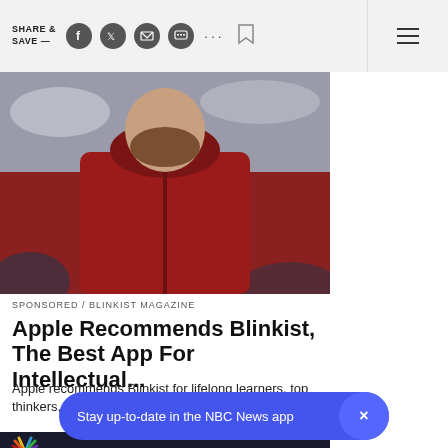SHARE & SAVE —
[Figure (photo): Man in red hoodie, partial body shot from waist up against cloudy background]
SPONSORED / BLINKIST MAGAZINE
Apple Recommends Blinkist, The Best App For Intellectual...
Apple recommends Blinkist for lifelong learners, top thinkers, and anyone who ...
[Figure (photo): Dark photo with NBC peacock logo and a man's partial face]
Stay up-to-date in the NBC News app